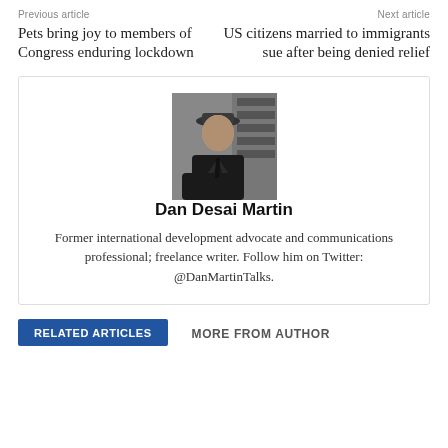Previous article
Next article
Pets bring joy to members of Congress enduring lockdown
US citizens married to immigrants sue after being denied relief
[Figure (photo): Black and white photo of Dan Desai Martin, a man wearing a hat and dark jacket, looking to the side in an interior setting]
Dan Desai Martin
Former international development advocate and communications professional; freelance writer. Follow him on Twitter: @DanMartinTalks.
RELATED ARTICLES
MORE FROM AUTHOR